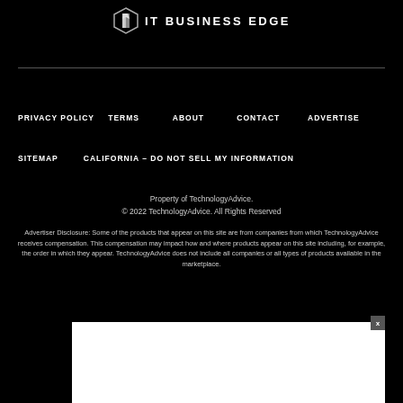[Figure (logo): IT Business Edge logo with geometric diamond/shield icon and bold text]
PRIVACY POLICY
TERMS
ABOUT
CONTACT
ADVERTISE
SITEMAP
CALIFORNIA – DO NOT SELL MY INFORMATION
Property of TechnologyAdvice.
© 2022 TechnologyAdvice. All Rights Reserved
Advertiser Disclosure: Some of the products that appear on this site are from companies from which TechnologyAdvice receives compensation. This compensation may impact how and where products appear on this site including, for example, the order in which they appear. TechnologyAdvice does not include all companies or all types of products available in the marketplace.
[Figure (screenshot): White advertisement box with close (x) button in upper right corner]